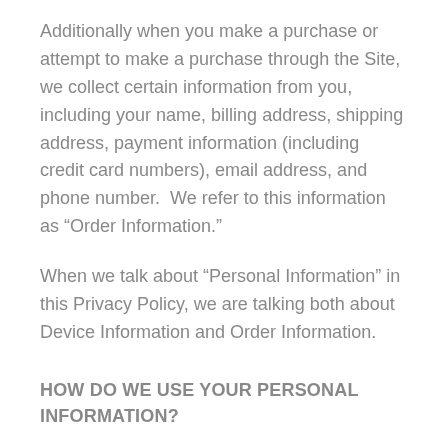Additionally when you make a purchase or attempt to make a purchase through the Site, we collect certain information from you, including your name, billing address, shipping address, payment information (including credit card numbers), email address, and phone number.  We refer to this information as “Order Information.”
When we talk about “Personal Information” in this Privacy Policy, we are talking both about Device Information and Order Information.
HOW DO WE USE YOUR PERSONAL INFORMATION?
We use the Order Information that we collect...